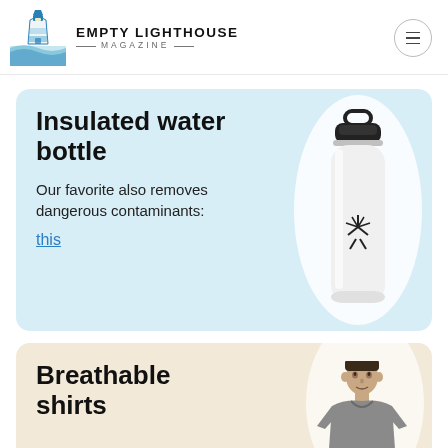EMPTY LIGHTHOUSE MAGAZINE
Insulated water bottle
Our favorite also removes dangerous contaminants:
this
[Figure (photo): A white Hydro Flask insulated water bottle with black lid and handle, on a light blue card background with white oval highlight.]
Breathable shirts
[Figure (photo): A man wearing a gray t-shirt, on a cream/beige card background with white oval highlight.]